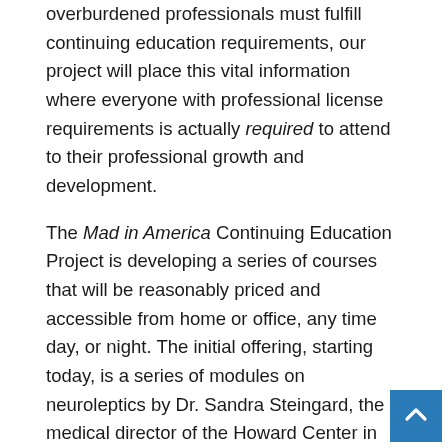overburdened professionals must fulfill continuing education requirements, our project will place this vital information where everyone with professional license requirements is actually required to attend to their professional growth and development.
The Mad in America Continuing Education Project is developing a series of courses that will be reasonably priced and accessible from home or office, any time day, or night. The initial offering, starting today, is a series of modules on neuroleptics by Dr. Sandra Steingard, the medical director of the Howard Center in Burlington, Vermont. Dr. Steingard is a prolific blogger on several websites, including this one. She will present the best available information on how neuroleptics (aka antipsychotics) work.  A 30-minute introductory module is followed by a 60-minute presentation on short-term effects of these drugs, both their efficacy in reducing psychotic symptoms and their side effects.